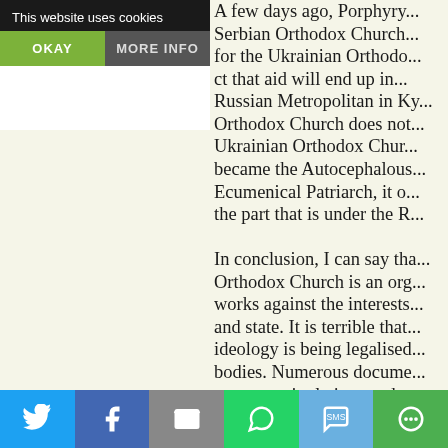This website uses cookies
OKAY
MORE INFO
A few days ago, Porphyry... Serbian Orthodox Church... for the Ukrainian Orthodo... ct that aid will end up in... Russian Metropolitan in Ky... Orthodox Church does not... Ukrainian Orthodox Chur... became the Autocephalous... Ecumenical Patriarch, it o... the part that is under the R...
In conclusion, I can say tha... Orthodox Church is an org... works against the interests... and state. It is terrible that... ideology is being legalised... bodies. Numerous docume... grave manipulations and a... of the Serbian Orthodox...